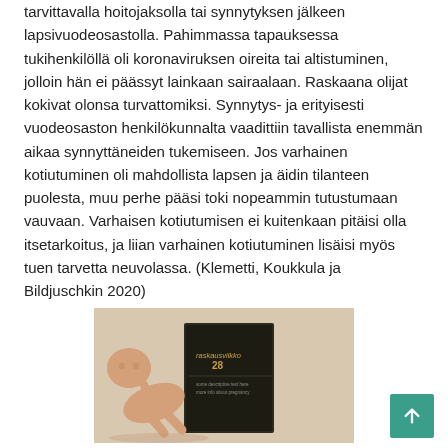tarvittavalla hoitojaksolla tai synnytyksen jälkeen lapsivuodeosastolla. Pahimmassa tapauksessa tukihenkilöllä oli koronaviruksen oireita tai altistuminen, jolloin hän ei päässyt lainkaan sairaalaan. Raskaana olijat kokivat olonsa turvattomiksi. Synnytys- ja erityisesti vuodeosaston henkilökunnalta vaadittiin tavallista enemmän aikaa synnyttäneiden tukemiseen. Jos varhainen kotiutuminen oli mahdollista lapsen ja äidin tilanteen puolesta, muu perhe pääsi toki nopeammin tutustumaan vauvaan. Varhaisen kotiutumisen ei kuitenkaan pitäisi olla itsetarkoitus, ja liian varhainen kotiutuminen lisäisi myös tuen tarvetta neuvolassa. (Klemetti, Koukkula ja Bildjuschkin 2020)
[Figure (photo): A photo of a model baby figurine lying next to a dark-colored booklet titled 'Raskausviikko 28']